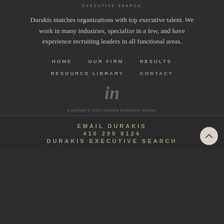EXECUTIVE SEARCH
Durakis matches organizations with top executive talent. We work in many industries, specialize in a few, and have experience recruiting leaders in all functional areas.
HOME
OUR FIRM
RESULTS
RESOURCE LIBRARY
CONTACT
[Figure (logo): LinkedIn 'in' icon in gray]
Copyright © 2021 Durakis Executive Search.
EMAIL DURAKIS
410 299 8124
DURAKIS EXECUTIVE SEARCH